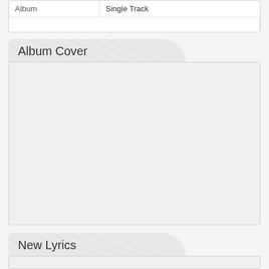| Album | Single Track |
| --- | --- |
|  |  |
Album Cover
[Figure (other): Empty album cover folder placeholder area]
New Lyrics